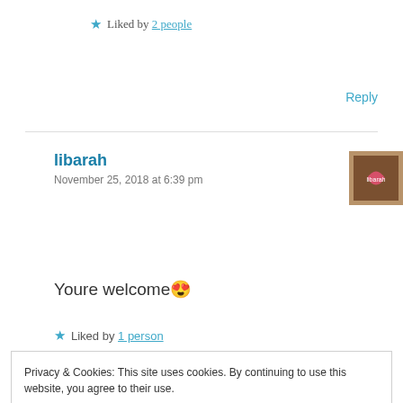★ Liked by 2 people
Reply
libarah
November 25, 2018 at 6:39 pm
[Figure (photo): User avatar photo for libarah with a pink heart graphic]
Youre welcome 😍
★ Liked by 1 person
Privacy & Cookies: This site uses cookies. By continuing to use this website, you agree to their use.
To find out more, including how to control cookies, see here: Cookie Policy
Close and accept
Okay I have to try this! THANKS FOR SHARING!!!